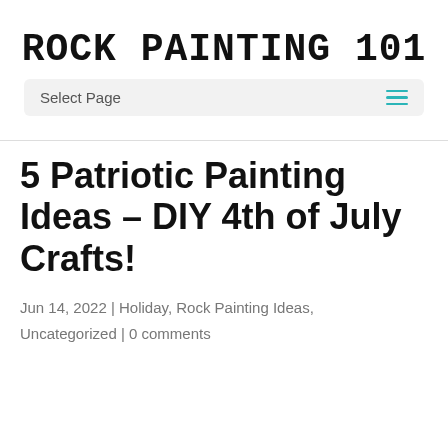ROCK PAINTING 101
Select Page
5 Patriotic Painting Ideas – DIY 4th of July Crafts!
Jun 14, 2022 | Holiday, Rock Painting Ideas, Uncategorized | 0 comments